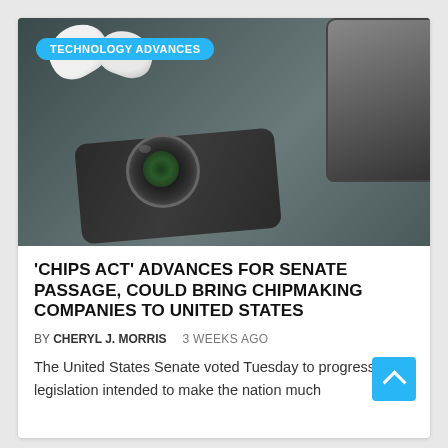[Figure (photo): Photo of tech devices on a dark surface: wireless earbuds, a tablet/phone with a camera lens attachment, against a dark gray background. Category badge reads 'TECHNOLOGY ADVANCES'.]
'CHIPS ACT' ADVANCES FOR SENATE PASSAGE, COULD BRING CHIPMAKING COMPANIES TO UNITED STATES
BY CHERYL J. MORRIS   3 WEEKS AGO
The United States Senate voted Tuesday to progress legislation intended to make the nation much